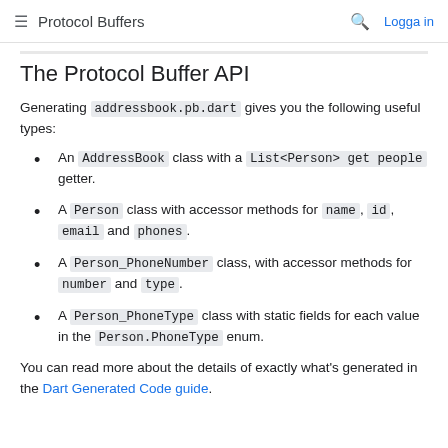≡  Protocol Buffers  🔍  Logga in
The Protocol Buffer API
Generating addressbook.pb.dart gives you the following useful types:
An AddressBook class with a List<Person> get people getter.
A Person class with accessor methods for name, id, email and phones.
A Person_PhoneNumber class, with accessor methods for number and type.
A Person_PhoneType class with static fields for each value in the Person.PhoneType enum.
You can read more about the details of exactly what's generated in the Dart Generated Code guide.